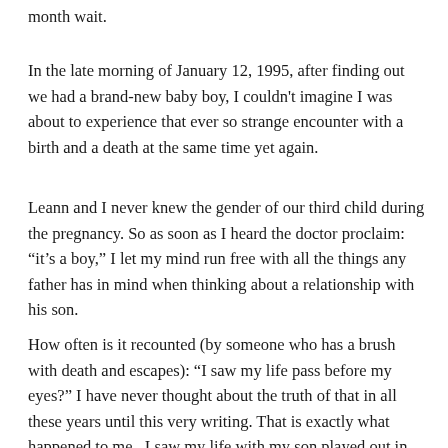month wait.
In the late morning of January 12, 1995, after finding out we had a brand-new baby boy, I couldn't imagine I was about to experience that ever so strange encounter with a birth and a death at the same time yet again.
Leann and I never knew the gender of our third child during the pregnancy. So as soon as I heard the doctor proclaim: “it’s a boy,” I let my mind run free with all the things any father has in mind when thinking about a relationship with his son.
How often is it recounted (by someone who has a brush with death and escapes): “I saw my life pass before my eyes?” I have never thought about the truth of that in all these years until this very writing. That is exactly what happened to me.  I saw my life with my son played out in living color in the hour or so between hearing: “It’s a boy,” and hearing: “Well, we can’t really confirm without genetic testing…but he does appear to have traits that